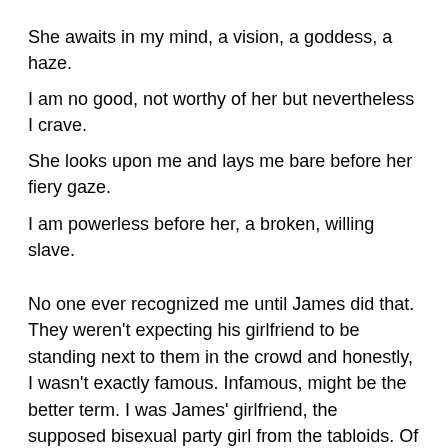She awaits in my mind, a vision, a goddess, a haze.
I am no good, not worthy of her but nevertheless I crave.
She looks upon me and lays me bare before her fiery gaze.
I am powerless before her, a broken, willing slave.
No one ever recognized me until James did that. They weren't expecting his girlfriend to be standing next to them in the crowd and honestly, I wasn't exactly famous. Infamous, might be the better term. I was James' girlfriend, the supposed bisexual party girl from the tabloids. Of course, none of that was true but Vicky, my old boss and the owner and CEO of Roland Talent, was waging a campaign attempting to discredit me and tear James and I apart. It was backfiring. The fans loved me and even more so because they thought I was a little wild.